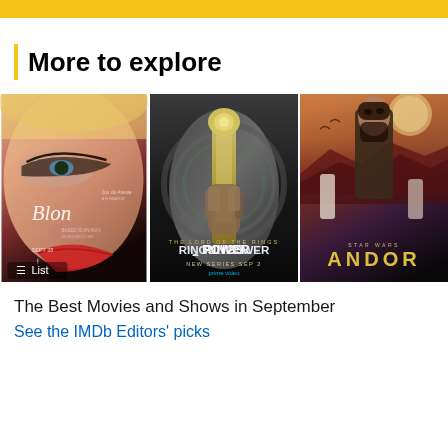IMDb header bar
More to explore
[Figure (photo): Collage of three movie/show posters: Blonde (film), The Lord of the Rings: The Rings of Power (Prime Video series), and Star Wars: Andor. A List button overlay appears on the Blonde poster.]
The Best Movies and Shows in September
See the IMDb Editors' picks